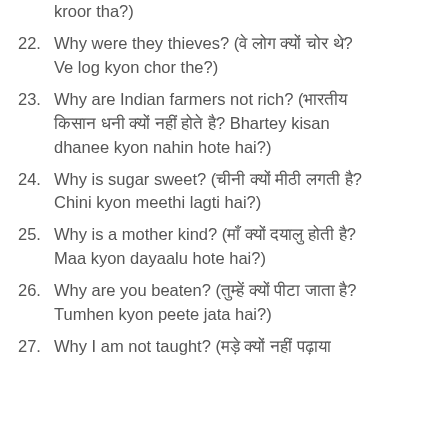kroor tha?)
22. Why were they thieves? (वे लोग क्यों चोर थे? Ve log kyon chor the?)
23. Why are Indian farmers not rich? (भारतीय किसान धनी क्यों नहीं होते है? Bhartey kisan dhanee kyon nahin hote hai?)
24. Why is sugar sweet? (चीनी क्यों मीठी लगती है? Chini kyon meethi lagti hai?)
25. Why is a mother kind? (माँ क्यों दयालु होती है? Maa kyon dayaalu hote hai?)
26. Why are you beaten? (तुम्हें क्यों पीटा जाता है? Tumhen kyon peete jata hai?)
27. Why I am not taught? (मड़े क्यों नहीं पढ़ाया